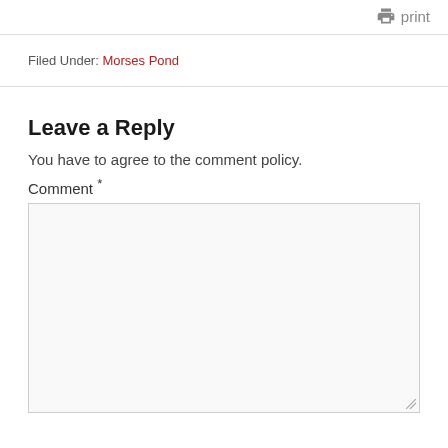[Figure (other): Print icon with label 'print' in grey]
Filed Under: Morses Pond
Leave a Reply
You have to agree to the comment policy.
Comment *
[Figure (other): Empty comment text area input box]